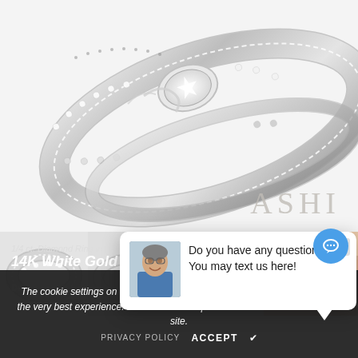[Figure (photo): Close-up photo of an ornate diamond ring set in white gold, showing intricate filigree and pave-set diamond details, photographed from above on a white background.]
ASHI
[Figure (photo): Thumbnail 1: Wide white gold diamond ring with filigree pattern, side view]
[Figure (photo): Thumbnail 2: White gold diamond ring with heart-shaped detail and milgrain edges]
[Figure (photo): Thumbnail 3: White gold diamond eternity band, front view]
[Figure (photo): Thumbnail 4: Model wearing diamond ring, showing hand and lips]
[Figure (screenshot): Chat popup overlay with man's photo and text: Do you have any questions? You may text us here!]
The cookie settings on this website are set to 'allow all cookies' to give you the very best experience. Please click Accept Cookies to continue to use the site.
PRIVACY POLICY   ACCEPT ✔
1/4 ct. Diamond Ring in
14K White Gold
Designer: ASHI
SKU: 27503RAPHWG-RS